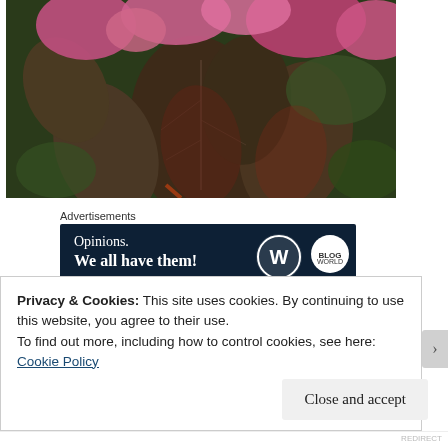[Figure (photo): Close-up photograph of dark reddish-green leaves with pink flowers in the background, bokeh effect]
Advertisements
[Figure (other): Advertisement banner with dark navy background. Text: 'Opinions. We all have them!' with WordPress logo and another circular logo on the right.]
Privacy & Cookies: This site uses cookies. By continuing to use this website, you agree to their use.
To find out more, including how to control cookies, see here: Cookie Policy
Close and accept